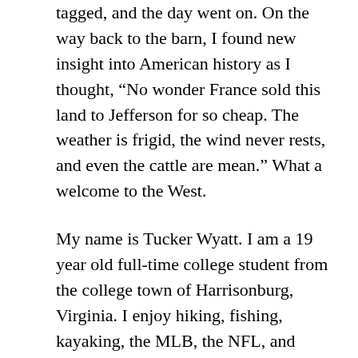tagged, and the day went on. On the way back to the barn, I found new insight into American history as I thought, “No wonder France sold this land to Jefferson for so cheap. The weather is frigid, the wind never rests, and even the cattle are mean.” What a welcome to the West.
My name is Tucker Wyatt. I am a 19 year old full-time college student from the college town of Harrisonburg, Virginia. I enjoy hiking, fishing, kayaking, the MLB, the NFL, and writing country music with my best friend, Megan (yes, she is a guitar). I am the second oldest of six kids; Anna (20), myself (19), Jane (17), Lizzy (13), Kitty (11), and Bridget (7). No, your eyes are not deceiving you. I am the only boy with five sisters. Even our family dog is a female. My father, Bill, is the Director of Communications and University Spokesperson for James Madison University (Go Dukes!) and my mother Carey is a stay-at-